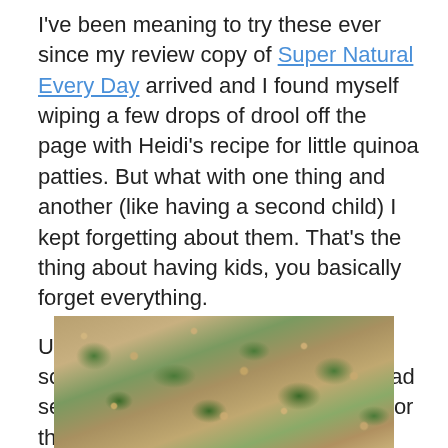I've been meaning to try these ever since my review copy of Super Natural Every Day arrived and I found myself wiping a few drops of drool off the page with Heidi's recipe for little quinoa patties. But what with one thing and another (like having a second child) I kept forgetting about them. That's the thing about having kids, you basically forget everything.

Until my mom-in-law threw together some surprisingly addictive (we all had seconds and some even went back for thirds) quinoa cakes a few weeks back. Then it was just a matter of waiting until we had leftover quinoa to work with. I finally got my chance last weekend and my whole family was thrilled by the results.
[Figure (photo): Close-up photo of quinoa mixed with green leafy herbs/spinach, showing a textured grain dish with visible leaves.]